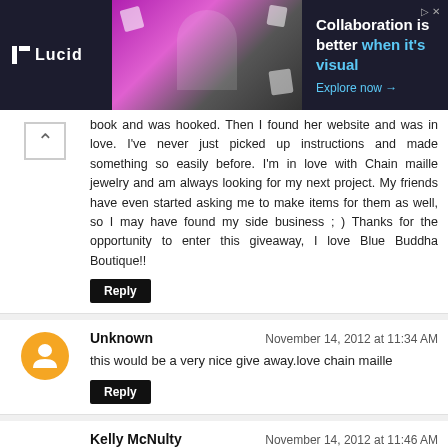[Figure (other): Lucid ad banner: dark background with Lucid logo, person with floating paper icons, text 'Collaboration is better when it's visual. Explore now →']
book and was hooked. Then I found her website and was in love. I've never just picked up instructions and made something so easily before. I'm in love with Chain maille jewelry and am always looking for my next project. My friends have even started asking me to make items for them as well, so I may have found my side business ; ) Thanks for the opportunity to enter this giveaway, I love Blue Buddha Boutique!!
Reply
Unknown
November 14, 2012 at 11:34 AM
this would be a very nice give away.love chain maille
Reply
Kelly McNulty
November 14, 2012 at 11:46 AM
I have bought rings from Rebeca several times and have